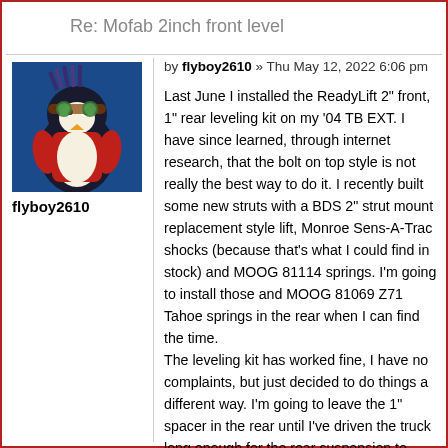Re: Mofab 2inch front level
by flyboy2610 » Thu May 12, 2022 6:06 pm
[Figure (photo): Avatar image of flyboy2610 - cartoon penguin character wearing goggles]
flyboy2610
Last June I installed the ReadyLift 2" front, 1" rear leveling kit on my '04 TB EXT. I have since learned, through internet research, that the bolt on top style is not really the best way to do it. I recently built some new struts with a BDS 2" strut mount replacement style lift, Monroe Sens-A-Trac shocks (because that's what I could find in stock) and MOOG 81114 springs. I'm going to install those and MOOG 81069 Z71 Tahoe springs in the rear when I can find the time.
The leveling kit has worked fine, I have no complaints, but just decided to do things a different way. I'm going to leave the 1" spacer in the rear until I've driven the truck long enough for the rear suspension to settle, and then see where things sit.